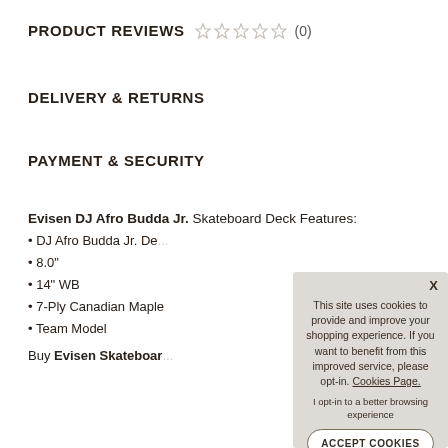PRODUCT REVIEWS ☆☆☆☆☆ (0)
DELIVERY & RETURNS
PAYMENT & SECURITY
Evisen DJ Afro Budda Jr. Skateboard Deck Features:
• DJ Afro Budda Jr. De...
• 8.0"
• 14" WB
• 7-Ply Canadian Maple
• Team Model
Buy Evisen Skateboar...
This site uses cookies to provide and improve your shopping experience. If you want to benefit from this improved service, please opt-in. Cookies Page.
I opt-in to a better browsing experience
ACCEPT COOKIES